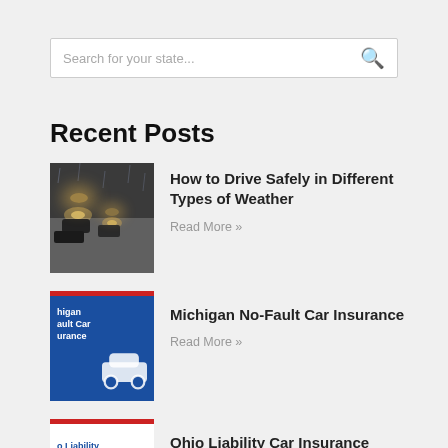Search for your state...
Recent Posts
[Figure (photo): Cars driving on a rainy road at night with headlights visible]
How to Drive Safely in Different Types of Weather
Read More »
[Figure (photo): Michigan No-Fault Car Insurance graphic with blue background and car icon]
Michigan No-Fault Car Insurance
Read More »
[Figure (photo): Ohio Liability Car Insurance graphic with white background and red C icon]
Ohio Liability Car Insurance
Read More »